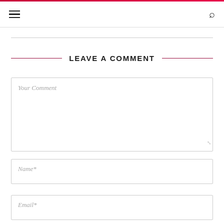LEAVE A COMMENT
Your Comment
Name*
Email*